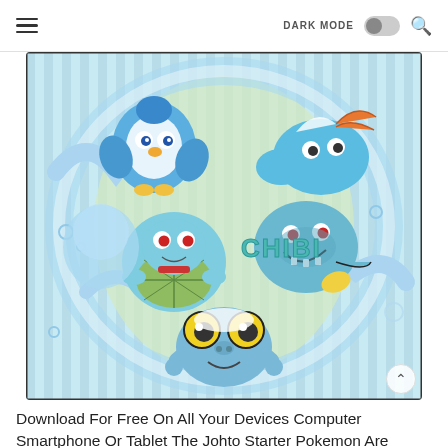DARK MODE [toggle] [search]
[Figure (illustration): Chibi-style illustration of multiple blue water-type starter Pokemon including Piplup, Mudkip, Squirtle, Totodile, and Froakie grouped together with water splashes on a light blue/green striped background. The word 'CHIBI' appears in teal letters in the center of the image.]
Download For Free On All Your Devices Computer Smartphone Or Tablet The Johto Starter Pokemon Are